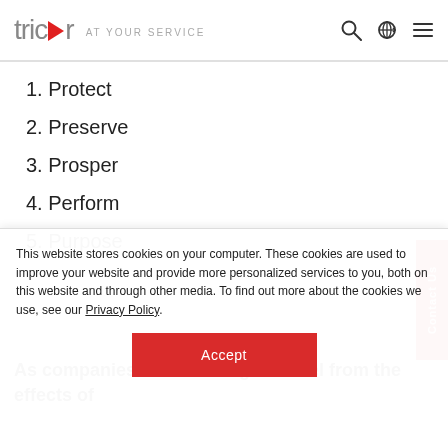[Figure (logo): Tricor 'AT YOUR SERVICE' logo with navigation icons (search, globe/language selector, hamburger menu)]
1. Protect
2. Preserve
3. Prosper
4. Perform
5. Purpose
As companies around the globe reel from the effects of COVID-19, disruptions, a multitude of challenges including...
This website stores cookies on your computer. These cookies are used to improve your website and provide more personalized services to you, both on this website and through other media. To find out more about the cookies we use, see our Privacy Policy.
Accept